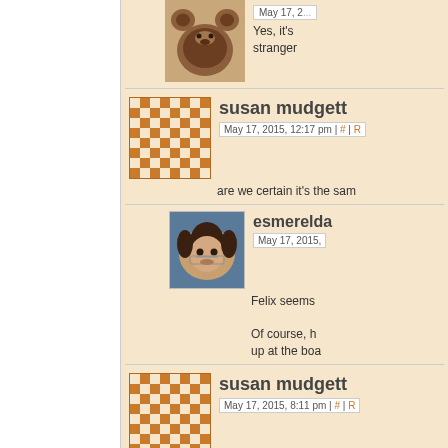[Figure (screenshot): Website comment section showing user comments with avatars, usernames, dates, and partial comment text. Left panel is white/blank sidebar. Right panel has tan/beige background with multiple comment threads.]
May 17, 2 ... Yes, it's stranger
susan mudgett
May 17, 2015, 12:17 pm | # |
are we certain it's the sam
esmerelda
May 17, 2015,
Felix seems
Of course, h up at the boa
susan mudgett
May 17, 2015, 8:11 pm | # |
what is the financial value
klio
May 17, 2015,
Somewhere